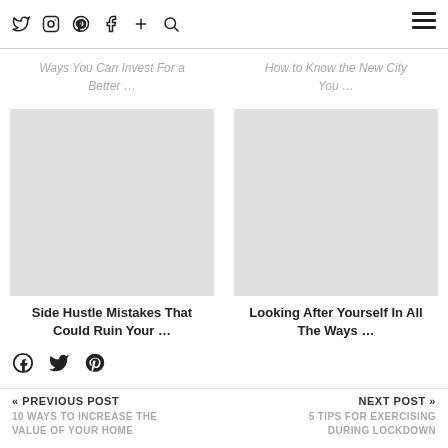Twitter Instagram Pinterest Facebook + Search [hamburger menu]
Ways You Can Invest For a Better …
How to Know the New City You …
[Figure (photo): Blank/grey image placeholder for article card]
Side Hustle Mistakes That Could Ruin Your …
[Figure (photo): Blank/grey image placeholder for article card]
Looking After Yourself In All The Ways …
Facebook Twitter Pinterest share icons
« PREVIOUS POST
10 WAYS TO INCREASE THE VALUE OF YOUR HOME
NEXT POST »
5 TIPS FOR EXERCISING DURING LOCKDOWN